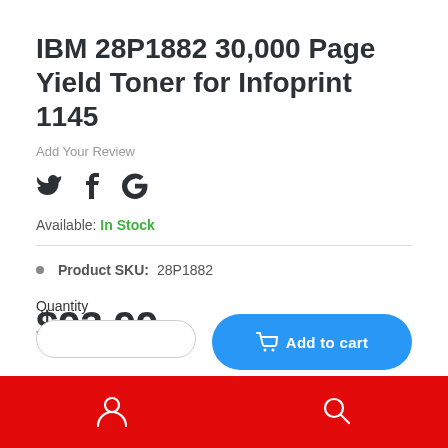IBM 28P1882 30,000 Page Yield Toner for Infoprint 1145
Add Your Review
[Figure (other): Social share icons: Twitter bird, Facebook f, Google G]
Available: In Stock
Product SKU: 28P1882
$93.99
Quantity
[Figure (other): Blue Add to cart button, partially visible]
Bottom navigation bar with user and search icons